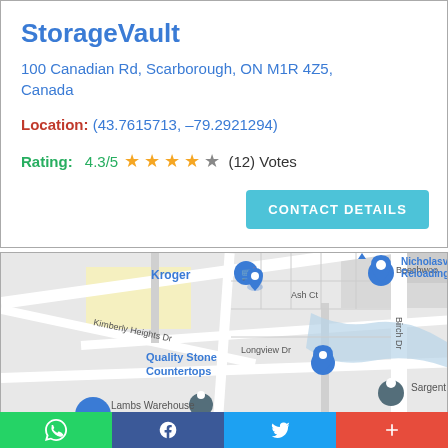StorageVault
100 Canadian Rd, Scarborough, ON M1R 4Z5, Canada
Location: (43.7615713, -79.2921294)
Rating: 4.3/5 ★★★★☆ (12) Votes
[Figure (map): Google Maps screenshot showing Kroger, Nicholasville Reloading & Guns, Quality Stone Countertops, Sargent and Greenleaf, Lambs Warehouse locations with street labels Kimberly Heights Dr, Longview Dr, Ash Ct, Birch Dr, Beechwoo[d]]
WhatsApp | Facebook | Twitter | +